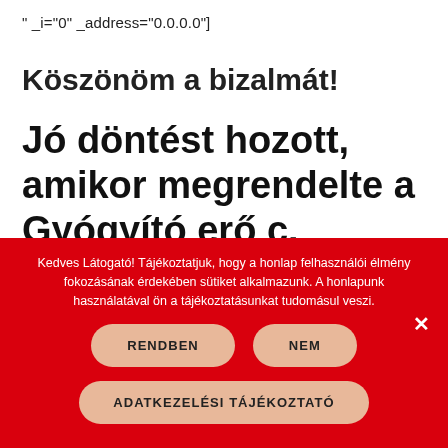" _i="0" _address="0.0.0.0"]
Köszönöm a bizalmát!
Jó döntést hozott, amikor megrendelte a Gyógyító erő c. Könyvet.
Kedves Látogató! Tájékoztatjuk, hogy a honlap felhasználói élmény fokozásának érdekében sütiket alkalmazunk. A honlapunk használatával ön a tájékoztatásunkat tudomásul veszi.
RENDBEN
NEM
ADATKEZELÉSI TÁJÉKOZTATÓ